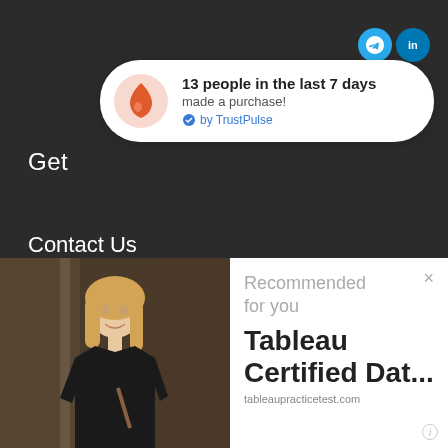[Figure (screenshot): TrustPulse notification popup with fire icon showing '13 people in the last 7 days made a purchase! by TrustPulse']
Get
Contact Us
Who We Are
About
Terms of Service
[Figure (photo): Blonde woman in black top smiling, standing in a hallway]
[Figure (screenshot): Advertisement panel: 'Recommended for you' with title 'Tableau Certified Dat...' and URL tableaupracticetest.com]